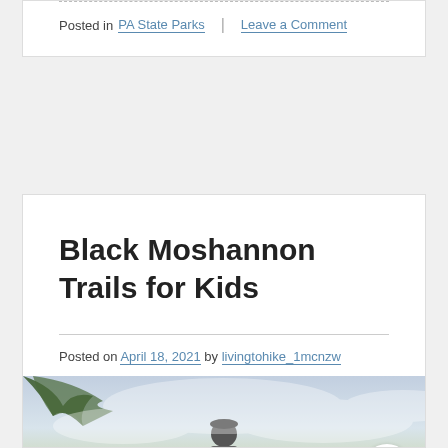Posted in PA State Parks | Leave a Comment
Black Moshannon Trails for Kids
Posted on April 18, 2021 by livingtohike_1mcnzw
[Figure (photo): Photo of a person standing outdoors with trees and cloudy sky in background]